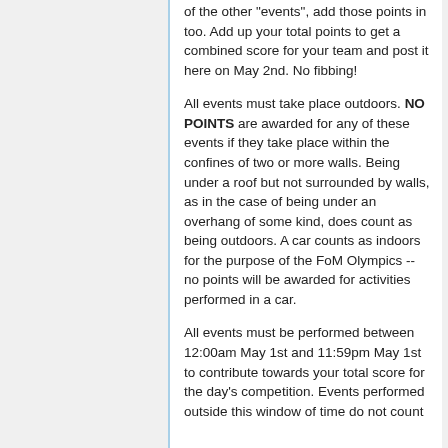of the other "events", add those points in too. Add up your total points to get a combined score for your team and post it here on May 2nd. No fibbing!
All events must take place outdoors. NO POINTS are awarded for any of these events if they take place within the confines of two or more walls. Being under a roof but not surrounded by walls, as in the case of being under an overhang of some kind, does count as being outdoors. A car counts as indoors for the purpose of the FoM Olympics -- no points will be awarded for activities performed in a car.
All events must be performed between 12:00am May 1st and 11:59pm May 1st to contribute towards your total score for the day's competition. Events performed outside this window of time do not count